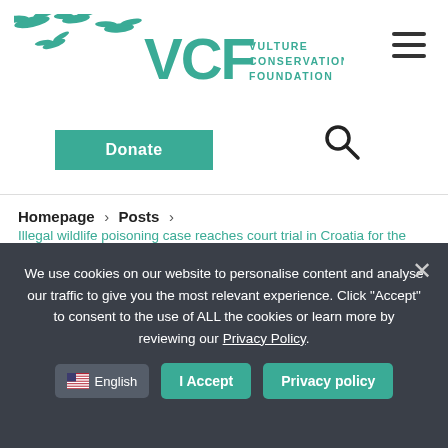[Figure (logo): VCF Vulture Conservation Foundation logo with flying vulture silhouettes in teal/green and text 'VCF VULTURE CONSERVATION FOUNDATION']
Donate
Homepage > Posts > Illegal wildlife poisoning case reaches court trial in Croatia for the first time
Illegal wildlife poisoning case reaches court trial in Croatia for the first time
We use cookies on our website to personalise content and analyse our traffic to give you the most relevant experience. Click "Accept" to consent to the use of ALL the cookies or learn more by reviewing our Privacy Policy.
English | I Accept | Privacy policy